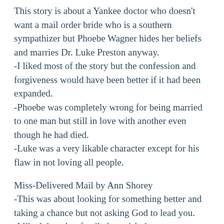This story is about a Yankee doctor who doesn't want a mail order bride who is a southern sympathizer but Phoebe Wagner hides her beliefs and marries Dr. Luke Preston anyway.
-I liked most of the story but the confession and forgiveness would have been better if it had been expanded.
-Phoebe was completely wrong for being married to one man but still in love with another even though he had died.
-Luke was a very likable character except for his flaw in not loving all people.
Miss-Delivered Mail by Ann Shorey
-This was about looking for something better and taking a chance but not asking God to lead you.
-I liked the other family but wish there was